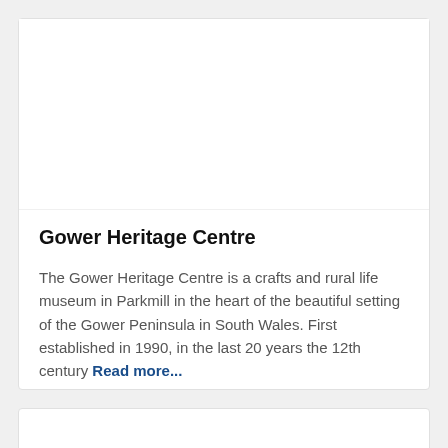Gower Heritage Centre
The Gower Heritage Centre is a crafts and rural life museum in Parkmill in the heart of the beautiful setting of the Gower Peninsula in South Wales. First established in 1990, in the last 20 years the 12th century
Read more...